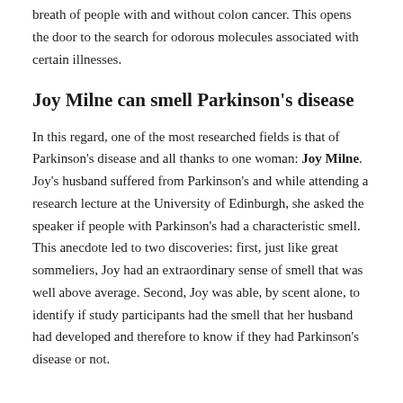breath of people with and without colon cancer. This opens the door to the search for odorous molecules associated with certain illnesses.
Joy Milne can smell Parkinson's disease
In this regard, one of the most researched fields is that of Parkinson's disease and all thanks to one woman: Joy Milne. Joy's husband suffered from Parkinson's and while attending a research lecture at the University of Edinburgh, she asked the speaker if people with Parkinson's had a characteristic smell. This anecdote led to two discoveries: first, just like great sommeliers, Joy had an extraordinary sense of smell that was well above average. Second, Joy was able, by scent alone, to identify if study participants had the smell that her husband had developed and therefore to know if they had Parkinson's disease or not.